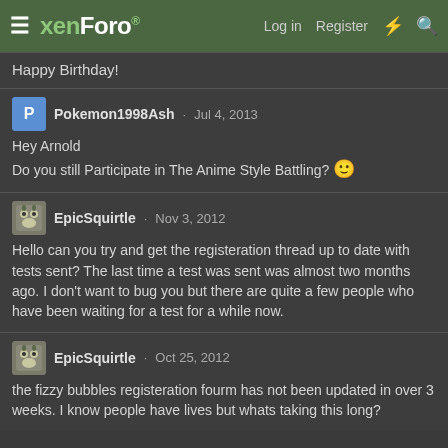xenForo | Log in | Register
Happy Birthday!
Pokemon1998Ash · Jul 4, 2013
Hey Arnold
Do you still Participate in The Anime Style Battling? 🙂
EpicSquirtle · Nov 3, 2012
Hello can you try and get the registeration thread up to date with tests sent? The last time a test was sent was almost two months ago. I don't want to bug you but there are quite a few people who have been waiting for a test for a while now.
EpicSquirtle · Oct 25, 2012
the fizzy bubbles registeration fourm has not been updated in over 3 weeks. I know people have lives but whats taking this long?